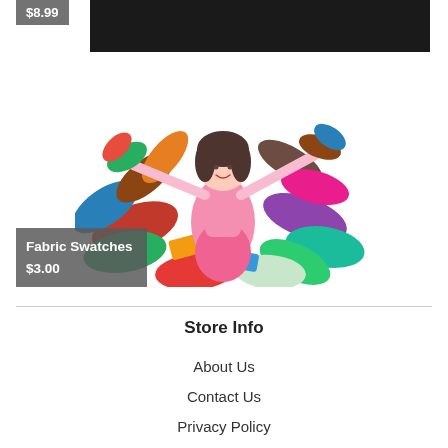$8.99
[Figure (illustration): Black zigzag/pinking shear edge pattern on fabric swatch at top of page]
[Figure (illustration): Illustration of a woman with brown hair in a pink dress surrounded by colorful fabric swatches flying around her]
Fabric Swatches
$3.00
Store Info
About Us
Contact Us
Privacy Policy